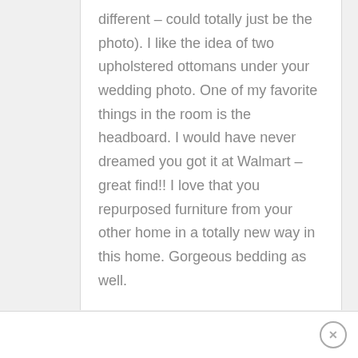different – could totally just be the photo). I like the idea of two upholstered ottomans under your wedding photo. One of my favorite things in the room is the headboard. I would have never dreamed you got it at Walmart – great find!! I love that you repurposed furniture from your other home in a totally new way in this home. Gorgeous bedding as well.